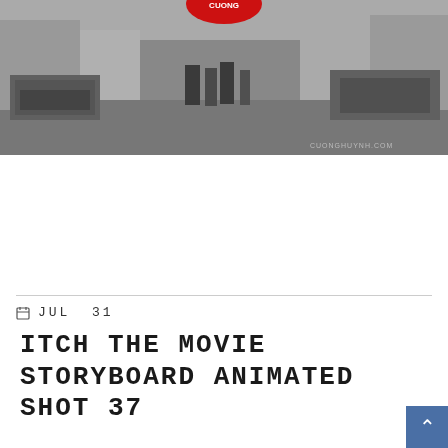[Figure (photo): Black and white photo of a busy street scene with vehicles and pedestrians, with a red logo/badge visible at the top center.]
JUL  31
ITCH THE MOVIE STORYBOARD ANIMATED SHOT 37
Posted By : Cuong Huynh / 0 comments / Under : Animation, Digital, Illustrations, Storyboarding Process, Storyboards